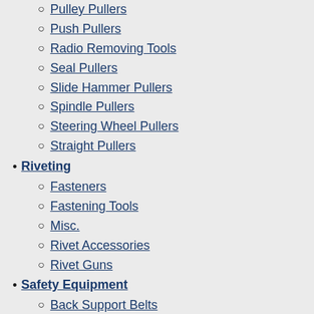Pulley Pullers
Push Pullers
Radio Removing Tools
Seal Pullers
Slide Hammer Pullers
Spindle Pullers
Steering Wheel Pullers
Straight Pullers
Riveting
Fasteners
Fastening Tools
Misc.
Rivet Accessories
Rivet Guns
Safety Equipment
Back Support Belts
CO2 Kits
Eye Protection
First Aid Kits
Foot Protection
Fresh Air Systems
Hand Cleaners
Hand Protection
Head Protection
Hearing Protection